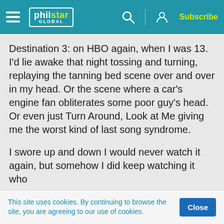philstar GLOBAL — Subscribe
Destination 3: on HBO again, when I was 13. I'd lie awake that night tossing and turning, replaying the tanning bed scene over and over in my head. Or the scene where a car's engine fan obliterates some poor guy's head. Or even just Turn Around, Look at Me giving me the worst kind of last song syndrome.
I swore up and down I would never watch it again, but somehow I did keep watching it who
This site uses cookies. By continuing to browse the site, you are agreeing to our use of cookies.